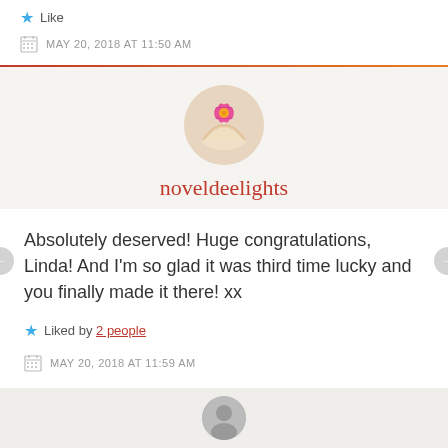Like
MAY 20, 2018 AT 11:50 AM
noveldeelights
Absolutely deserved! Huge congratulations, Linda! And I'm so glad it was third time lucky and you finally made it there! xx
Liked by 2 people
MAY 20, 2018 AT 11:59 AM